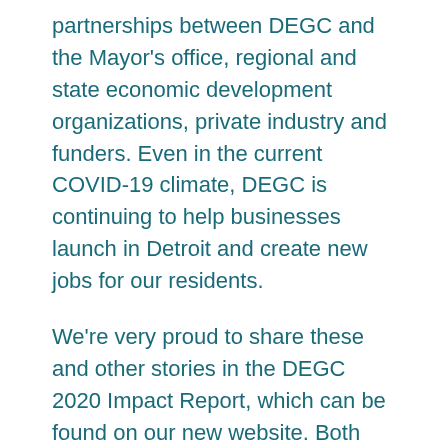partnerships between DEGC and the Mayor's office, regional and state economic development organizations, private industry and funders. Even in the current COVID-19 climate, DEGC is continuing to help businesses launch in Detroit and create new jobs for our residents.
We're very proud to share these and other stories in the DEGC 2020 Impact Report, which can be found on our new website. Both tools have been created to encourage visitors to learn more about the tremendous business opportunities and competitive advantages that exist in Detroit.
We hope to...